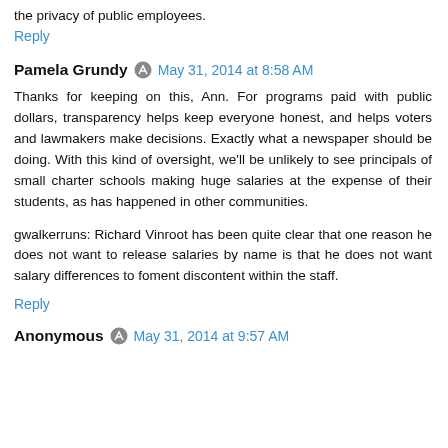the privacy of public employees.
Reply
Pamela Grundy  May 31, 2014 at 8:58 AM
Thanks for keeping on this, Ann. For programs paid with public dollars, transparency helps keep everyone honest, and helps voters and lawmakers make decisions. Exactly what a newspaper should be doing. With this kind of oversight, we'll be unlikely to see principals of small charter schools making huge salaries at the expense of their students, as has happened in other communities.

gwalkerruns: Richard Vinroot has been quite clear that one reason he does not want to release salaries by name is that he does not want salary differences to foment discontent within the staff.
Reply
Anonymous  May 31, 2014 at 9:57 AM